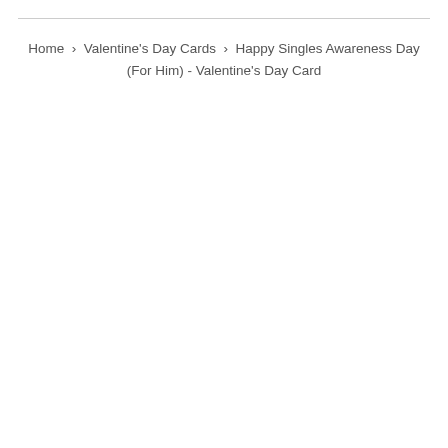Home › Valentine's Day Cards › Happy Singles Awareness Day (For Him) - Valentine's Day Card